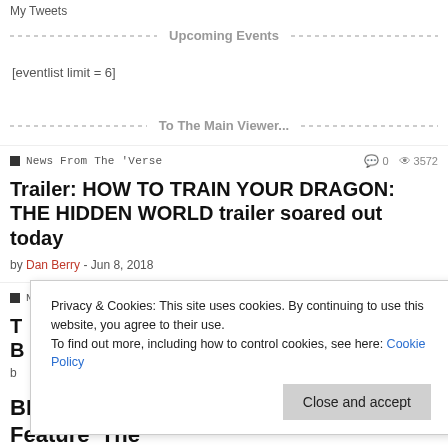My Tweets
Upcoming Events
[eventlist limit = 6]
To The Main Viewer...
News From The 'Verse  0  3572
Trailer: HOW TO TRAIN YOUR DRAGON: THE HIDDEN WORLD trailer soared out today
by Dan Berry - Jun 8, 2018
News From The 'Verse  0  20993
Privacy & Cookies: This site uses cookies. By continuing to use this website, you agree to their use. To find out more, including how to control cookies, see here: Cookie Policy
Close and accept
BLACK PANTHER: Blu-Ray Bonus Feature 'The